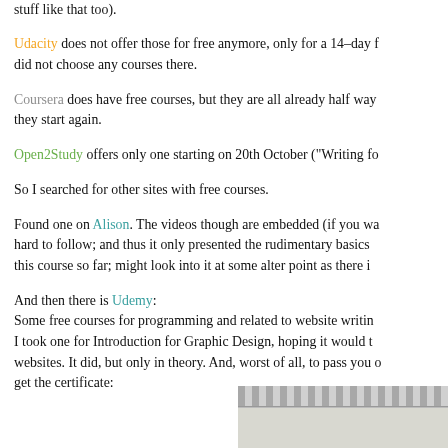stuff like that too).
Udacity does not offer those for free anymore, only for a 14-day f... did not choose any courses there.
Coursera does have free courses, but they are all already half way ... they start again.
Open2Study offers only one starting on 20th October ("Writing fo...
So I searched for other sites with free courses.
Found one on Alison. The videos though are embedded (if you wa... hard to follow; and thus it only presented the rudimentary basics... this course so far; might look into it at some alter point as there i...
And then there is Udemy:
Some free courses for programming and related to website writin...
I took one for Introduction for Graphic Design, hoping it would t...
websites. It did, but only in theory. And, worst of all, to pass you o...
get the certificate:
[Figure (photo): Top portion of a decorative certificate frame with ornate border pattern]